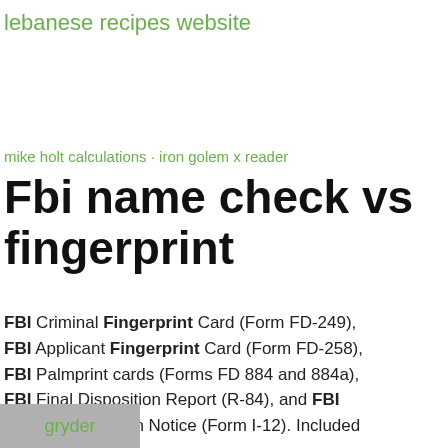lebanese recipes website
mike holt calculations · iron golem x reader
Fbi name check vs fingerprint
FBI Criminal Fingerprint Card (Form FD-249), FBI Applicant Fingerprint Card (Form FD-258), FBI Palmprint cards (Forms FD 884 and 884a), FBI Final Disposition Report (R-84), and FBI Flash/Cancellation Notice (Form I-12). Included
gryder